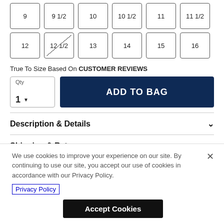Size buttons row 1: 9, 9 1/2, 10, 10 1/2, 11, 11 1/2
Size buttons row 2: 12, 12 1/2 (unavailable/crossed), 13, 14, 15, 16
True To Size Based On CUSTOMER REVIEWS
Qty 1 ▼
ADD TO BAG
Description & Details
Shipping & Returns
We use cookies to improve your experience on our site. By continuing to use our site, you accept our use of cookies in accordance with our Privacy Policy.
Privacy Policy
Accept Cookies